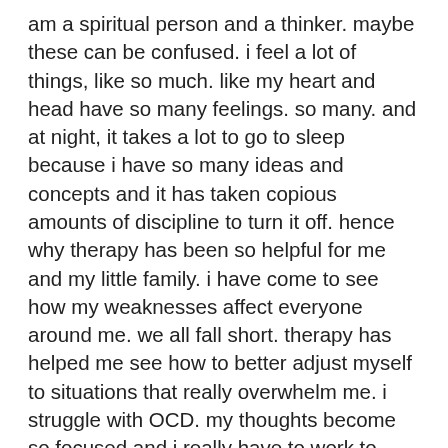am a spiritual person and a thinker. maybe these can be confused. i feel a lot of things, like so much. like my heart and head have so many feelings. so many. and at night, it takes a lot to go to sleep because i have so many ideas and concepts and it has taken copious amounts of discipline to turn it off. hence why therapy has been so helpful for me and my little family. i have come to see how my weaknesses affect everyone around me. we all fall short. therapy has helped me see how to better adjust myself to situations that really overwhelm me. i struggle with OCD. my thoughts become so focused and i really have to work to recognize that and tell myself to stop. i have struggled with depression thru the years and holding all the sad things inside is no good. no good. when i eat a high sugar, high carb diet i get extreme bursts of energy that cause severe crashes. that is not fun to think about but being real about it and not holding on to it is vital. i have to do everything i can to keep my mind healthy and happy! mostly, i have to remember my spirit is not my body. they require two different kinds of care. i am not tied to the limitations of my body. yes, it's crappy that i have malfunctions with my physical body but when i forget about my spirit and am not so gentle with the thoughts my mind